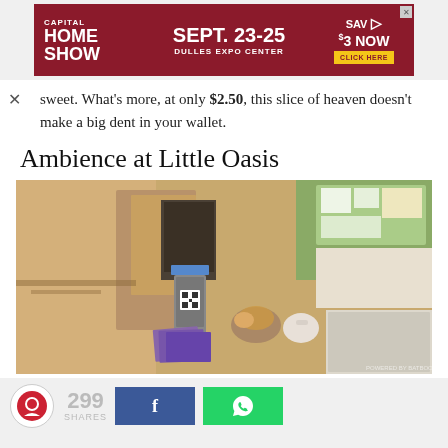[Figure (other): Advertisement banner: Capital Home Show Sept. 23-25, Dulles Expo Center, Save $3 Now Click Here]
sweet. What's more, at only $2.50, this slice of heaven doesn't make a big dent in your wallet.
Ambience at Little Oasis
[Figure (photo): Interior photo of Little Oasis cafe showing a counter with a payment terminal displaying a QR code, menu photo cards, flowers, and cafe seating area in background]
[Figure (other): Social share bar: 299 shares, Facebook button, WhatsApp button]